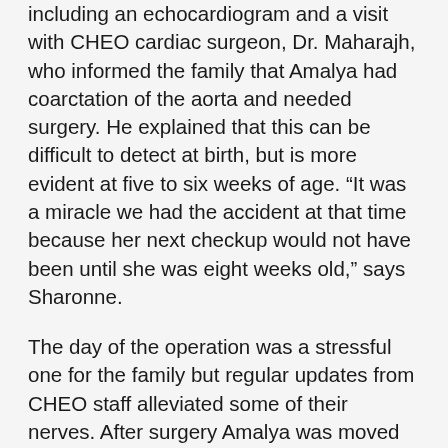including an echocardiogram and a visit with CHEO cardiac surgeon, Dr. Maharajh, who informed the family that Amalya had coarctation of the aorta and needed surgery. He explained that this can be difficult to detect at birth, but is more evident at five to six weeks of age. “It was a miracle we had the accident at that time because her next checkup would not have been until she was eight weeks old,” says Sharonne.
The day of the operation was a stressful one for the family but regular updates from CHEO staff alleviated some of their nerves. After surgery Amalya was moved to the Intensive Care Unit (ICU) where she was on life support with machines breathing for her. “On the second night, I stayed at CHEO with Amalya,” says Sharonne. “Her blood pressure started spiking. What I didn’t know was that if her blood pressure got too high, the stitches in her aorta could have popped and she would have likely died. Dr. Maharajh stayed with her most of the night and she survived! The